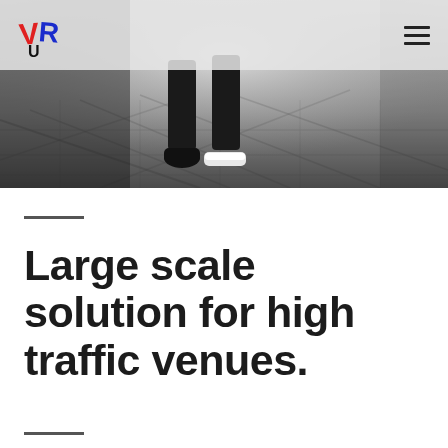VR logo and navigation menu
[Figure (photo): Black and white photo of a person's legs and feet walking on a dark tiled floor with geometric shadow patterns]
Large scale solution for high traffic venues.